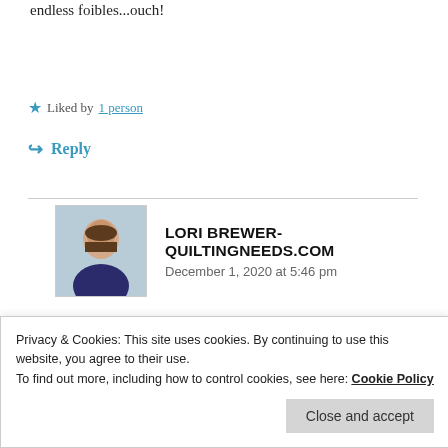endless foibles...ouch!
Liked by 1 person
↪ Reply
LORI BREWER-QUILTINGNEEDS.COM
December 1, 2020 at 5:46 pm
Thanks Cindy!
Liked by 1 person
Privacy & Cookies: This site uses cookies. By continuing to use this website, you agree to their use.
To find out more, including how to control cookies, see here: Cookie Policy
Close and accept